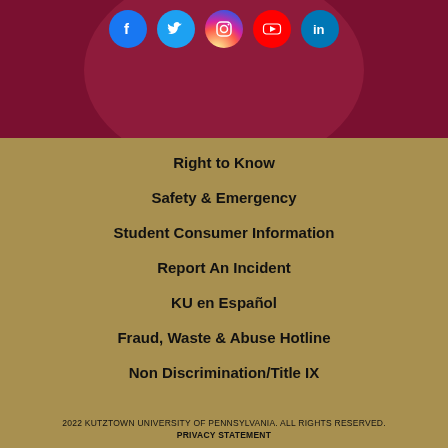[Figure (other): Social media icons row: Facebook (blue circle), Twitter (blue circle), Instagram (gradient circle), YouTube (red circle), LinkedIn (blue circle) on dark maroon background]
Right to Know
Safety & Emergency
Student Consumer Information
Report An Incident
KU en Español
Fraud, Waste & Abuse Hotline
Non Discrimination/Title IX
2022 KUTZTOWN UNIVERSITY OF PENNSYLVANIA. ALL RIGHTS RESERVED.
PRIVACY STATEMENT